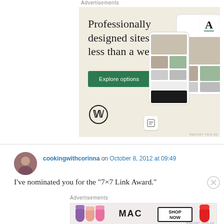Advertisements
[Figure (illustration): WordPress advertisement banner: 'Professionally designed sites in less than a week' with green 'Explore options' button, WordPress logo, and mockup phone screens showing website templates on a beige background.]
cookingwithcorinna on October 8, 2012 at 09:49
I’ve nominated you for the “7×7 Link Award.”
Advertisements
[Figure (illustration): MAC Cosmetics advertisement showing colorful lipsticks and 'SHOP NOW' text in a black box.]